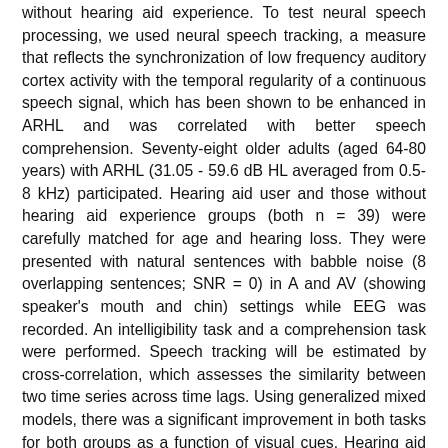without hearing aid experience. To test neural speech processing, we used neural speech tracking, a measure that reflects the synchronization of low frequency auditory cortex activity with the temporal regularity of a continuous speech signal, which has been shown to be enhanced in ARHL and was correlated with better speech comprehension. Seventy-eight older adults (aged 64-80 years) with ARHL (31.05 - 59.6 dB HL averaged from 0.5-8 kHz) participated. Hearing aid user and those without hearing aid experience groups (both n = 39) were carefully matched for age and hearing loss. They were presented with natural sentences with babble noise (8 overlapping sentences; SNR = 0) in A and AV (showing speaker's mouth and chin) settings while EEG was recorded. An intelligibility task and a comprehension task were performed. Speech tracking will be estimated by cross-correlation, which assesses the similarity between two time series across time lags. Using generalized mixed models, there was a significant improvement in both tasks for both groups as a function of visual cues. Hearing aid users performed significantly better in the comprehension task, but significantly worse in the intelligibility task compared to those